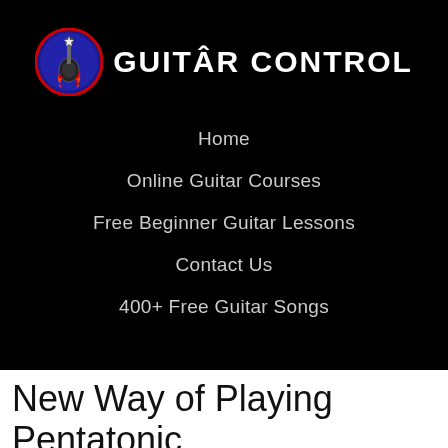[Figure (logo): Guitar Control logo: circular emblem with guitar and flames, blue/red colors, with 'GUITAR CONTROL' text in white bold letters]
Home
Online Guitar Courses
Free Beginner Guitar Lessons
Contact Us
400+ Free Guitar Songs
New Way of Playing Pentatonic